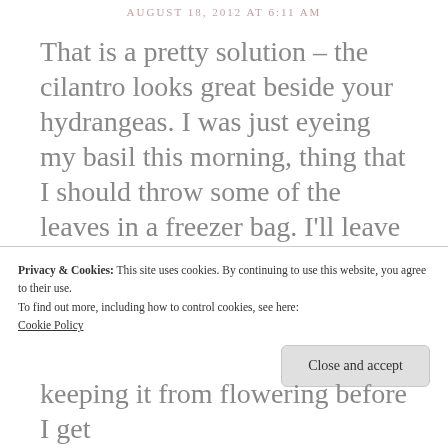AUGUST 18, 2012 AT 6:11 AM
That is a pretty solution – the cilantro looks great beside your hydrangeas. I was just eyeing my basil this morning, thing that I should throw some of the leaves in a freezer bag. I'll leave enough to make my tomato sauces, but don't want to leave myself without
Privacy & Cookies: This site uses cookies. By continuing to use this website, you agree to their use.
To find out more, including how to control cookies, see here:
Cookie Policy
Close and accept
keeping it from flowering before I get